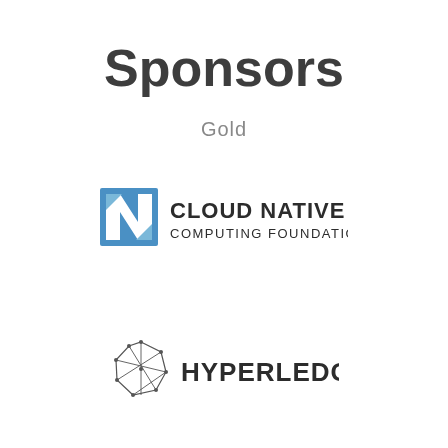Sponsors
Gold
[Figure (logo): Cloud Native Computing Foundation logo — blue square icon with stylized N and the text CLOUD NATIVE COMPUTING FOUNDATION]
[Figure (logo): Hyperledger logo — geometric polyhedron line-drawing icon with the text HYPERLEDGER]